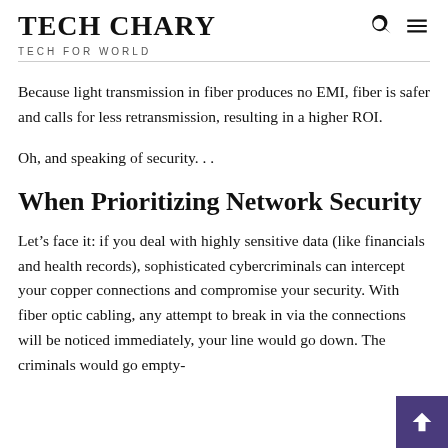TECH CHARY
TECH FOR WORLD
Because light transmission in fiber produces no EMI, fiber is safer and calls for less retransmission, resulting in a higher ROI.
Oh, and speaking of security. . .
When Prioritizing Network Security
Let's face it: if you deal with highly sensitive data (like financials and health records), sophisticated cybercriminals can intercept your copper connections and compromise your security. With fiber optic cabling, any attempt to break in via the connections will be noticed immediately, your line would go down. The criminals would go empty-